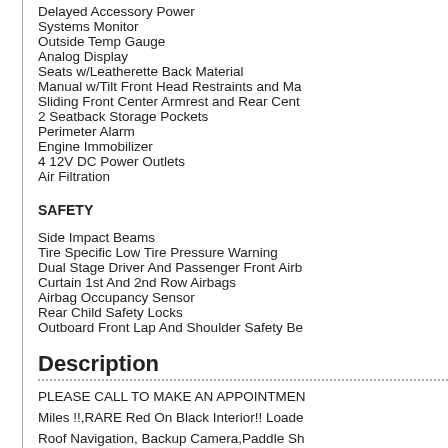Delayed Accessory Power
Systems Monitor
Outside Temp Gauge
Analog Display
Seats w/Leatherette Back Material
Manual w/Tilt Front Head Restraints and Ma
Sliding Front Center Armrest and Rear Cent
2 Seatback Storage Pockets
Perimeter Alarm
Engine Immobilizer
4 12V DC Power Outlets
Air Filtration
SAFETY
Side Impact Beams
Tire Specific Low Tire Pressure Warning
Dual Stage Driver And Passenger Front Airb
Curtain 1st And 2nd Row Airbags
Airbag Occupancy Sensor
Rear Child Safety Locks
Outboard Front Lap And Shoulder Safety Be
Description
PLEASE CALL TO MAKE AN APPOINTMEN Miles !!,RARE Red On Black Interior!! Loade Roof Navigation, Backup Camera,Paddle Sh Premium Bose Sound,Cruise Control,Power AM/FM/SAT Radio,Tow, Air Condition,Rear A title,Telescoping Wheel, Automatic Transmis government fees and taxes; any finance cha